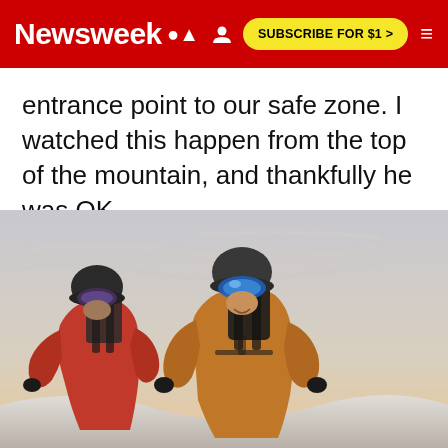Newsweek — SUBSCRIBE FOR $1 >
entrance point to our safe zone. I watched this happen from the top of the mountain, and thankfully he was OK.
[Figure (photo): Two skiers/snowboarders in helmets and goggles with backpacks posing together on a mountain top against a cloudy sky. Left person wears red jacket, right person wears orange/brown jacket with blue goggles.]